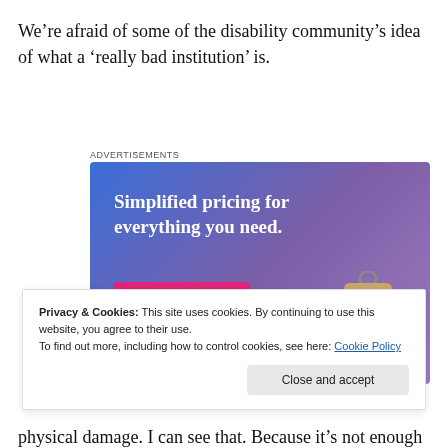We’re afraid of some of the disability community’s idea of what a ‘really bad institution’ is.
[Figure (illustration): Advertisement banner with gradient blue-purple background. Text reads 'Simplified pricing for everything you need.' with a pink 'Build Your Website' button and a decorative price tag image.]
Privacy & Cookies: This site uses cookies. By continuing to use this website, you agree to their use.
To find out more, including how to control cookies, see here: Cookie Policy
physical damage. I can see that. Because it’s not enough...